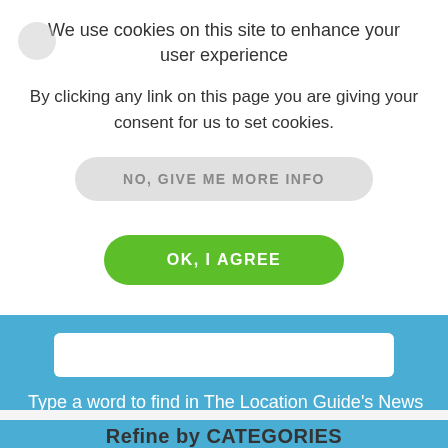We use cookies on this site to enhance your user experience
By clicking any link on this page you are giving your consent for us to set cookies.
NO, GIVE ME MORE INFO
OK, I AGREE
Type a word to find in The Location Guide's News
Refine by CATEGORIES